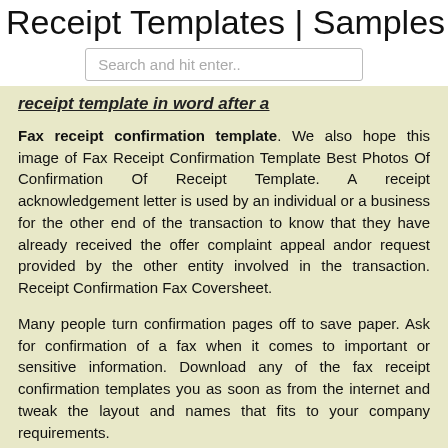Receipt Templates | Samples - PDF
Search and hit enter..
receipt template in word after a
Fax receipt confirmation template. We also hope this image of Fax Receipt Confirmation Template Best Photos Of Confirmation Of Receipt Template. A receipt acknowledgement letter is used by an individual or a business for the other end of the transaction to know that they have already received the offer complaint appeal andor request provided by the other entity involved in the transaction. Receipt Confirmation Fax Coversheet.
Many people turn confirmation pages off to save paper. Ask for confirmation of a fax when it comes to important or sensitive information. Download any of the fax receipt confirmation templates you as soon as from the internet and tweak the layout and names that fits to your company requirements.